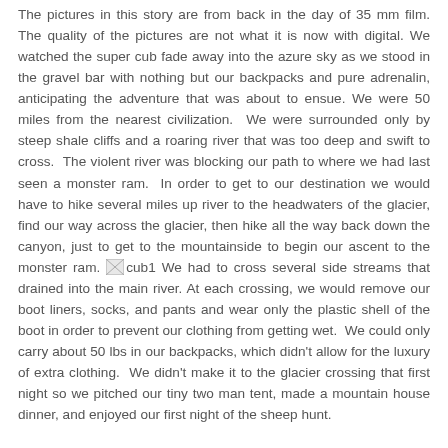The pictures in this story are from back in the day of 35 mm film. The quality of the pictures are not what it is now with digital. We watched the super cub fade away into the azure sky as we stood in the gravel bar with nothing but our backpacks and pure adrenalin, anticipating the adventure that was about to ensue. We were 50 miles from the nearest civilization. We were surrounded only by steep shale cliffs and a roaring river that was too deep and swift to cross. The violent river was blocking our path to where we had last seen a monster ram. In order to get to our destination we would have to hike several miles up river to the headwaters of the glacier, find our way across the glacier, then hike all the way back down the canyon, just to get to the mountainside to begin our ascent to the monster ram. [cub1 image] We had to cross several side streams that drained into the main river. At each crossing, we would remove our boot liners, socks, and pants and wear only the plastic shell of the boot in order to prevent our clothing from getting wet. We could only carry about 50 lbs in our backpacks, which didn't allow for the luxury of extra clothing. We didn't make it to the glacier crossing that first night so we pitched our tiny two man tent, made a mountain house dinner, and enjoyed our first night of the sheep hunt.